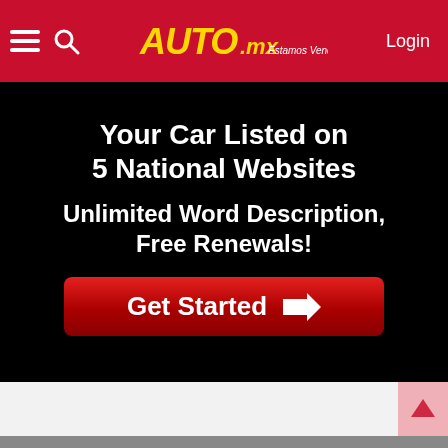Auta.mx — Estamos Vendiendo Coches! Login
Your Car Listed on 5 National Websites
Unlimited Word Description,
Free Renewals!
Get Started →